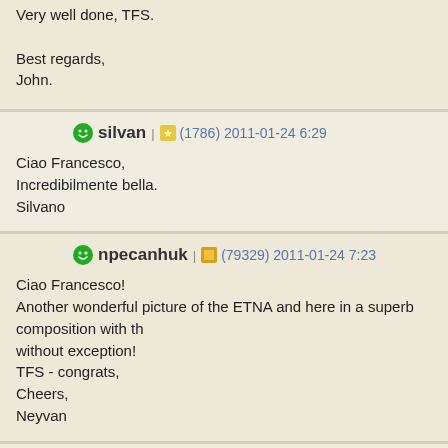Very well done, TFS.

Best regards,
John.
silvan | (1786) 2011-01-24 6:29
Ciao Francesco,
Incrediblmente bella.
Silvano
npecanhuk | (79329) 2011-01-24 7:23
Ciao Francesco!
Another wonderful picture of the ETNA and here in a superb composition with th without exception!
TFS - congrats,
Cheers,
Neyvan
Nard | (6972) 2011-01-24 10:39
Hi Francesco